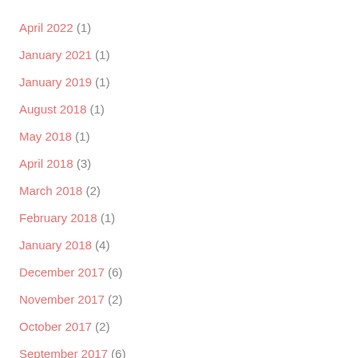April 2022 (1)
January 2021 (1)
January 2019 (1)
August 2018 (1)
May 2018 (1)
April 2018 (3)
March 2018 (2)
February 2018 (1)
January 2018 (4)
December 2017 (6)
November 2017 (2)
October 2017 (2)
September 2017 (6)
August 2017 (5)